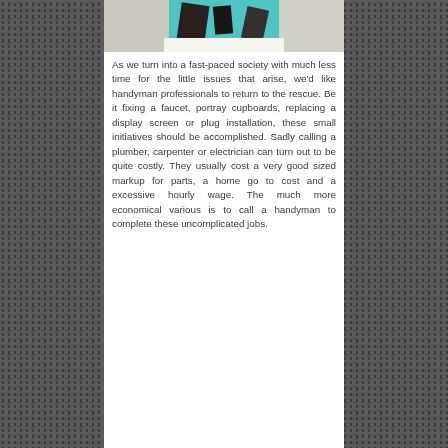[Figure (photo): A room interior photo showing furniture with teal/turquoise accents, appears to be a living or media room setting]
As we turn into a fast-paced society with much less time for the little issues that arise, we'd like handyman professionals to return to the rescue. Be it fixing a faucet, portray cupboards, replacing a display screen or plug installation, these small initiatives should be accomplished. Sadly calling a plumber, carpenter or electrician can turn out to be quite costly. They usually cost a very good sized markup for parts, a home go to cost and a excessive hourly wage. The much more economical various is to call a handyman to complete these uncomplicated jobs.